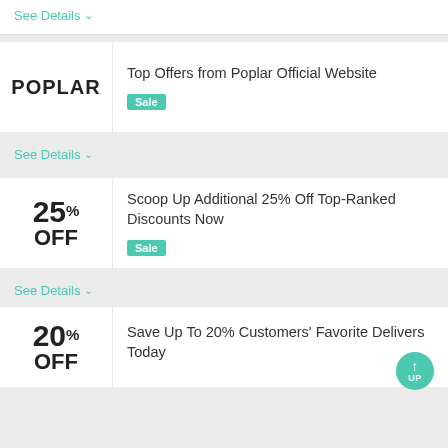See Details ∨
Top Offers from Poplar Official Website
Sale
See Details ∨
Scoop Up Additional 25% Off Top-Ranked Discounts Now
Sale
See Details ∨
Save Up To 20% Customers' Favorite Delivers Today